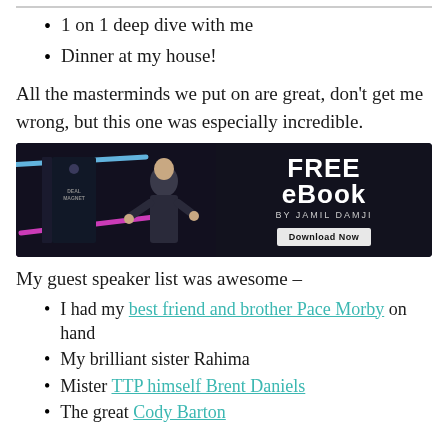1 on 1 deep dive with me
Dinner at my house!
All the masterminds we put on are great, don't get me wrong, but this one was especially incredible.
[Figure (infographic): Dark-background advertisement banner for a FREE eBook by Jamil Damji with a Download Now button and an image of a man pointing at a book.]
My guest speaker list was awesome –
I had my best friend and brother Pace Morby on hand
My brilliant sister Rahima
Mister TTP himself Brent Daniels
The great Cody Barton